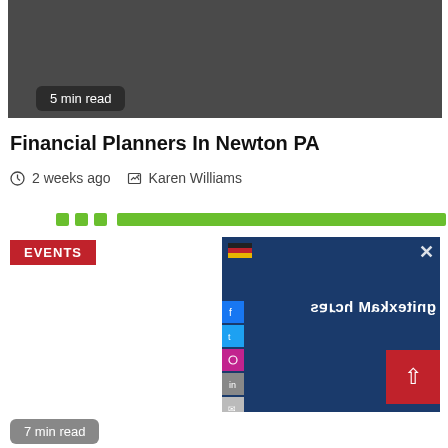[Figure (screenshot): Dark gray image placeholder at the top of the page with a '5 min read' badge overlay]
Financial Planners In Newton PA
2 weeks ago  Karen Williams
[Figure (screenshot): Green progress dots and bar row, EVENTS badge on left, and a screenshot of a blue website with mirrored 'search marketing' text on right, with a red scroll-to-top button and a '7 min read' badge]